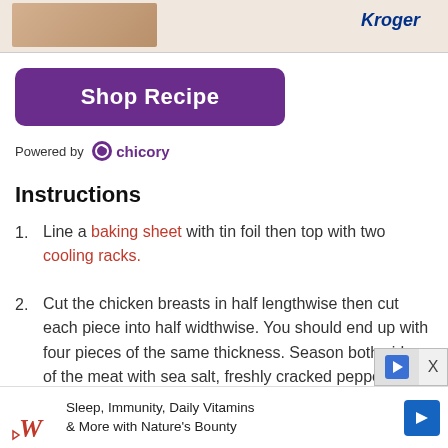[Figure (other): Top banner ad area with a photo (person) on beige background and Kroger logo]
[Figure (other): Purple 'Shop Recipe' button]
Powered by chicory
Instructions
Line a baking sheet with tin foil then top with two cooling racks.
Cut the chicken breasts in half lengthwise then cut each piece into half widthwise. You should end up with four pieces of the same thickness. Season both sides of the meat with sea salt, freshly cracked pepper, and garlic powder, to taste. Pour the flour onto a flat plate. Whisk the egg and milk together in a bowl. Pour the panko onto a flat plate.
[Figure (other): Bottom advertisement banner: Walgreens logo, 'Sleep, Immunity, Daily Vitamins & More with Nature's Bounty', blue arrow icon]